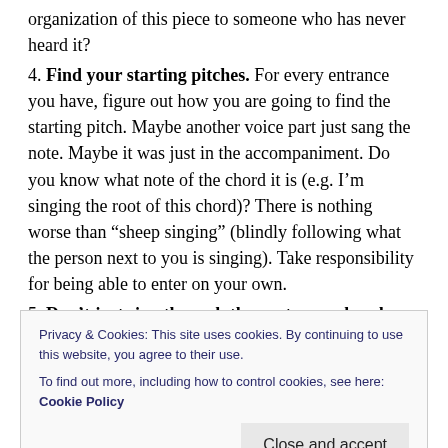organization of this piece to someone who has never heard it?
4. Find your starting pitches. For every entrance you have, figure out how you are going to find the starting pitch. Maybe another voice part just sang the note. Maybe it was just in the accompaniment. Do you know what note of the chord it is (e.g. I’m singing the root of this chord)? There is nothing worse than “sheep singing” (blindly following what the person next to you is singing). Take responsibility for being able to enter on your own.
5. Don’t just sing through the parts you already know. You’ll be wasting your practice time. Identifi
Privacy & Cookies: This site uses cookies. By continuing to use this website, you agree to their use.
To find out more, including how to control cookies, see here: Cookie Policy
repetition, but only if you’re sure you’re doing it right!